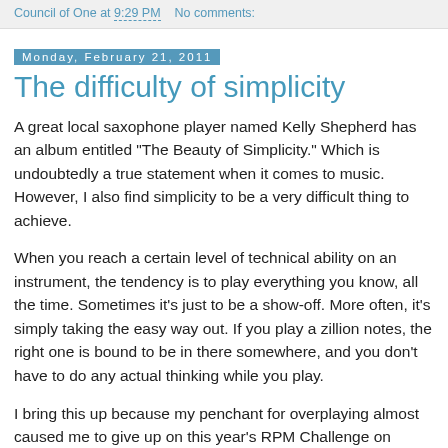Council of One at 9:29 PM   No comments:
Monday, February 21, 2011
The difficulty of simplicity
A great local saxophone player named Kelly Shepherd has an album entitled "The Beauty of Simplicity." Which is undoubtedly a true statement when it comes to music. However, I also find simplicity to be a very difficult thing to achieve.
When you reach a certain level of technical ability on an instrument, the tendency is to play everything you know, all the time. Sometimes it's just to be a show-off. More often, it's simply taking the easy way out. If you play a zillion notes, the right one is bound to be in there somewhere, and you don't have to do any actual thinking while you play.
I bring this up because my penchant for overplaying almost caused me to give up on this year's RPM Challenge on Saturday. I had spent a whole bunch of time playing some hopefully groovy electric piano to go over the bed of tablas